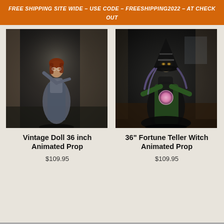FREE SHIPPING SITE WIDE – USE CODE – FREESHIPPING2022 – AT CHECK OUT
[Figure (photo): Halloween animated prop: Vintage Doll wearing a grey dress, standing in a dark indoor setting]
Vintage Doll 36 inch Animated Prop
$109.95
[Figure (photo): Halloween animated prop: Fortune Teller Witch in a black robe and striped hat, holding a glowing pink orb in a dark indoor setting]
36" Fortune Teller Witch Animated Prop
$109.95